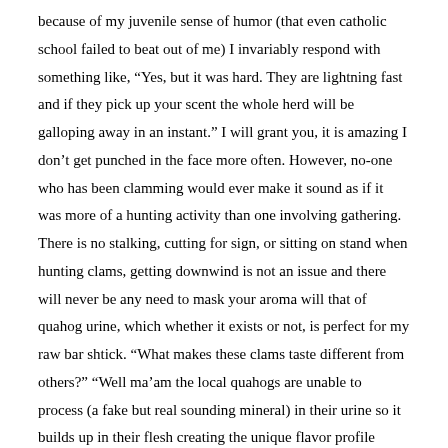because of my juvenile sense of humor (that even catholic school failed to beat out of me) I invariably respond with something like, “Yes, but it was hard. They are lightning fast and if they pick up your scent the whole herd will be galloping away in an instant.” I will grant you, it is amazing I don’t get punched in the face more often. However, no-one who has been clamming would ever make it sound as if it was more of a hunting activity than one involving gathering. There is no stalking, cutting for sign, or sitting on stand when hunting clams, getting downwind is not an issue and there will never be any need to mask your aroma will that of quahog urine, which whether it exists or not, is perfect for my raw bar shtick. “What makes these clams taste different from others?” “Well ma’am the local quahogs are unable to process (a fake but real sounding mineral) in their urine so it builds up in their flesh creating the unique flavor profile you’ve noticed.” Anyway, the clams aren’t going anywhere, at least not very fast. They do have the means to self-propel with what we call their foot but not so much that hot pursuit is required, unless hot pursuit is what you do while drinking beer and smoking cigarettes. It’s all about